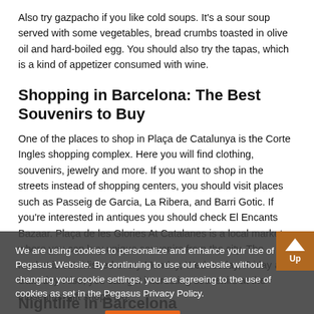Also try gazpacho if you like cold soups. It's a sour soup served with some vegetables, bread crumbs toasted in olive oil and hard-boiled egg. You should also try the tapas, which is a kind of appetizer consumed with wine.
Shopping in Barcelona: The Best Souvenirs to Buy
One of the places to shop in Plaça de Catalunya is the Corte Ingles shopping complex. Here you will find clothing, souvenirs, jewelry and more. If you want to shop in the streets instead of shopping centers, you should visit places such as Passeig de Garcia, La Ribera, and Barri Gotic. If you're interested in antiques you should check El Encants Bazaar. Plaça de les Glories At Catalanes is a local market where you can buy unique souvenirs from the city. The market is established every Monday, Wednesday, Friday and Saturday. Also, you can get interesting souvenirs at the museums' gift shops too.
We are using cookies to personalize and enhance your use of the Pegasus Website. By continuing to use our website without changing your cookie settings, you are agreeing to the use of cookies as set in the Pegasus Privacy Policy.
Nightlife in Barcelona